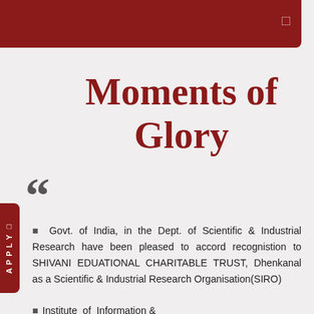Moments of Glory
Govt. of India, in the Dept. of Scientific & Industrial Research have been pleased to accord recognistion to SHIVANI EDUATIONAL CHARITABLE TRUST, Dhenkanal as a Scientific & Industrial Research Organisation(SIRO)
Institute of Information &